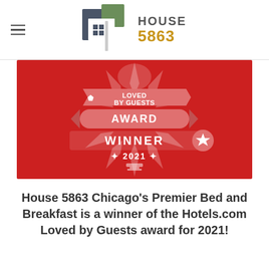House 5863
[Figure (logo): House 5863 logo with geometric building icon squares in grey, dark blue, green, and white, with 'HOUSE' text and '5863' in gold/amber below]
[Figure (photo): Hotels.com Loved by Guests Award Winner 2021 badge on red background with white decorative star/burst graphics and banner ribbon reading 'AWARD WINNER 2021']
House 5863 Chicago's Premier Bed and Breakfast is a winner of the Hotels.com Loved by Guests award for 2021!